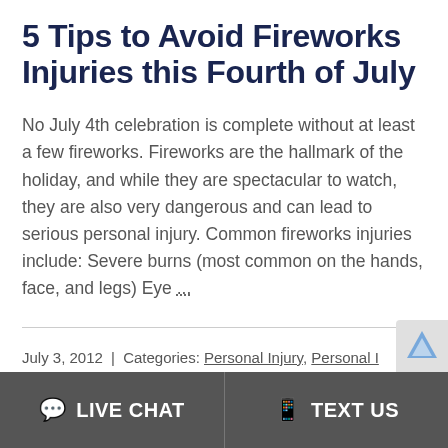5 Tips to Avoid Fireworks Injuries this Fourth of July
No July 4th celebration is complete without at least a few fireworks. Fireworks are the hallmark of the holiday, and while they are spectacular to watch, they are also very dangerous and can lead to serious personal injury. Common fireworks injuries include: Severe burns (most common on the hands, face, and legs) Eye …
July 3, 2012  |  Categories: Personal Injury, Personal I
💬 LIVE CHAT | 📱 TEXT US